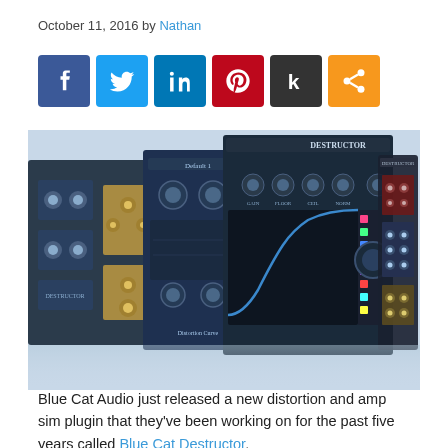October 11, 2016 by Nathan
[Figure (infographic): Six social sharing buttons: Facebook (blue), Twitter (light blue), LinkedIn (dark blue), Pinterest (red), Klout (dark/black), Share (orange)]
[Figure (screenshot): Blue Cat Audio Destructor plugin interface shown in multiple views — a distortion and amp sim plugin with knobs, EQ curves, and blue/dark UI panels]
Blue Cat Audio just released a new distortion and amp sim plugin that they've been working on for the past five years called Blue Cat Destructor.